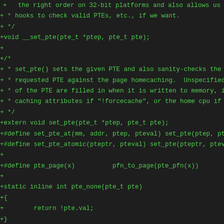+   the right order on 32-bit platforms and also allows us to
+ * hooks to check valid PTEs, etc., if we want.
+ */
+void __set_pte(pte_t *ptep, pte_t pte);
+
+/*
+ * set_pte() sets the given PTE and also sanity-checks the
+ * requested PTE against the page homecaching.  Unspecified
+ * of the PTE are filled in when it is written to memory, i.
+ * caching attributes if "!forcecache", or the home cpu if "
+ */
+extern void set_pte(pte_t *ptep, pte_t pte);
+#define set_pte_at(mm, addr, ptep, pteval) set_pte(ptep, pte
+#define set_pte_atomic(pteptr, pteval) set_pte(pteptr, pteva
+
+#define pte_page(x)          pfn_to_page(pte_pfn(x))
+
+static inline int pte_none(pte_t pte)
+{
+        return !pte.val;
+}
+
+static inline unsigned long pte_pfn(pte_t pte)
+{
+        return hv_pte_get_pfn(pte);
+}